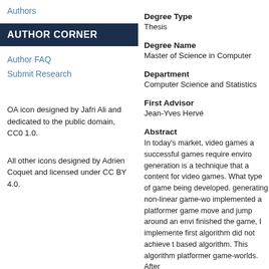Authors
AUTHOR CORNER
Author FAQ
Submit Research
OA icon designed by Jafri Ali and dedicated to the public domain, CC0 1.0.
All other icons designed by Adrien Coquet and licensed under CC BY 4.0.
Degree Type
Thesis
Degree Name
Master of Science in Computer
Department
Computer Science and Statistics
First Advisor
Jean-Yves Hervé
Abstract
In today's market, video games are successful games require enviro generation is a technique that a content for video games. What type of game being developed. generating non-linear game-wo implemented a platformer game move and jump around an envi finished the game, I implemente first algorithm did not achieve t based algorithm. This algorithm platformer game-worlds. After